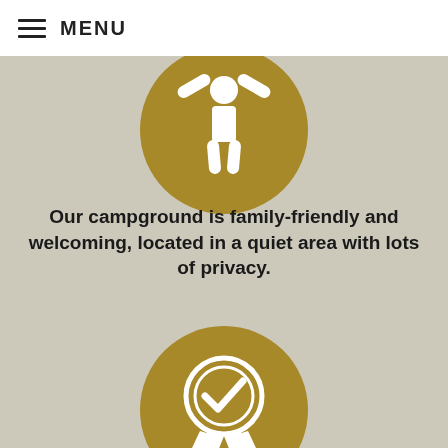MENU
[Figure (illustration): Gold circle icon with white silhouette of a person with arms raised, representing family-friendly welcoming]
Our campground is family-friendly and welcoming, located in a quiet area with lots of privacy.
[Figure (illustration): Gold circle icon with white award/badge with checkmark ribbon, representing quality and certification]
Our entire property is up to code and well-